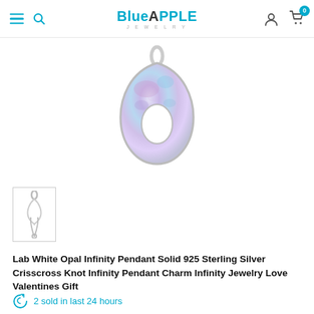Blue Apple Jewelry — navigation header with logo, search, account, cart
[Figure (photo): Silver opal teardrop infinity pendant shown from front, displaying iridescent multicolor opal inlay with silver bail]
[Figure (photo): Small silver crisscross knot infinity pendant charm shown as thumbnail]
Lab White Opal Infinity Pendant Solid 925 Sterling Silver Crisscross Knot Infinity Pendant Charm Infinity Jewelry Love Valentines Gift
2 sold in last 24 hours